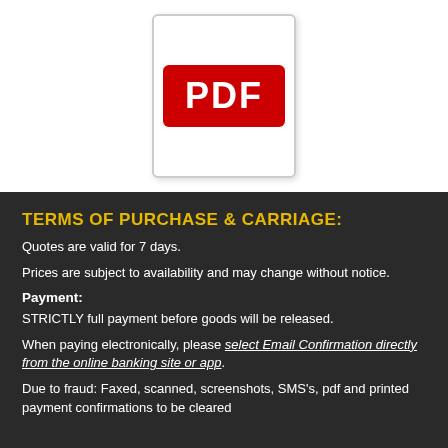[Figure (logo): PDF icon: red rectangle with white bold text 'PDF' on it, inside a light grey bordered rounded rectangle]
TERMS OF PURCHASE & CARRIAGE:
Quotes are valid for 7 days.
Prices are subject to availability and may change without notice.
Payment:
STRICTLY full payment before goods will be released.
When paying electronically, please select Email Confirmation directly from the online banking site or app.
Due to fraud: Faxed, scanned, screenshots, SMS's, pdf and printed payment confirmations to be cleared